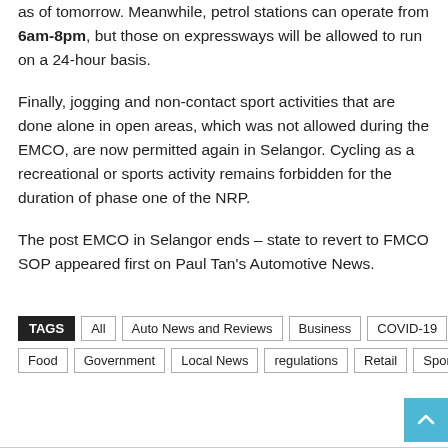as of tomorrow. Meanwhile, petrol stations can operate from 6am-8pm, but those on expressways will be allowed to run on a 24-hour basis.
Finally, jogging and non-contact sport activities that are done alone in open areas, which was not allowed during the EMCO, are now permitted again in Selangor. Cycling as a recreational or sports activity remains forbidden for the duration of phase one of the NRP.
The post EMCO in Selangor ends – state to revert to FMCO SOP appeared first on Paul Tan's Automotive News.
TAGS: All, Auto News and Reviews, Business, COVID-19, Food, Government, Local News, regulations, Retail, Sports